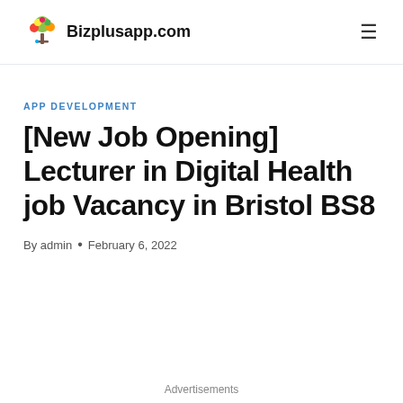Bizplusapp.com
APP DEVELOPMENT
[New Job Opening] Lecturer in Digital Health job Vacancy in Bristol BS8
By admin • February 6, 2022
Advertisements